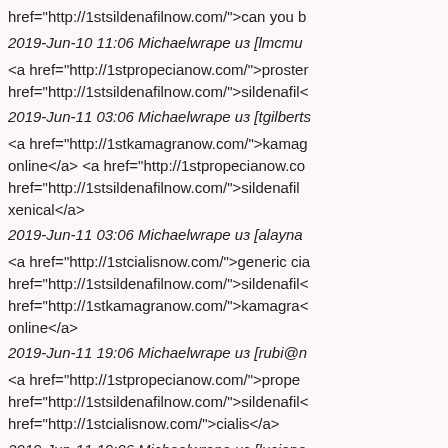href="http://1stsildenafilnow.com/">can you b
2019-Jun-10 11:06 Michaelwrape из [lmcmu
<a href="http://1stpropecianow.com/">proster href="http://1stsildenafilnow.com/">sildenafil<
2019-Jun-11 03:06 Michaelwrape из [tgilberts
<a href="http://1stkamagranow.com/">kamag online</a> <a href="http://1stpropecianow.co href="http://1stsildenafilnow.com/">sildenafil xenical</a>
2019-Jun-11 03:06 Michaelwrape из [alayna
<a href="http://1stcialisnow.com/">generic cia href="http://1stsildenafilnow.com/">sildenafil< href="http://1stkamagranow.com/">kamagra< online</a>
2019-Jun-11 19:06 Michaelwrape из [rubi@n
<a href="http://1stpropecianow.com/">prope href="http://1stsildenafilnow.com/">sildenafil< href="http://1stcialisnow.com/">cialis</a>
2019-Jun-11 19:06 Michaelwrape из [luciana
<a href="http://1stpropecianow.com/">proster cheap</a> <a href="http://1stkamagranow.co you buy sildenafil over the counter</a> <a hr
2019-Jun-12 11:06 Michaelwrape из [klaffoo